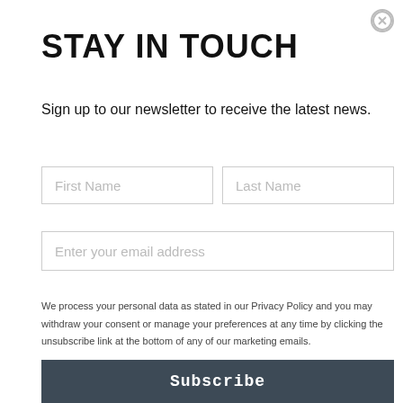STAY IN TOUCH
Sign up to our newsletter to receive the latest news.
First Name
Last Name
Enter your email address
We process your personal data as stated in our Privacy Policy and you may withdraw your consent or manage your preferences at any time by clicking the unsubscribe link at the bottom of any of our marketing emails.
Subscribe